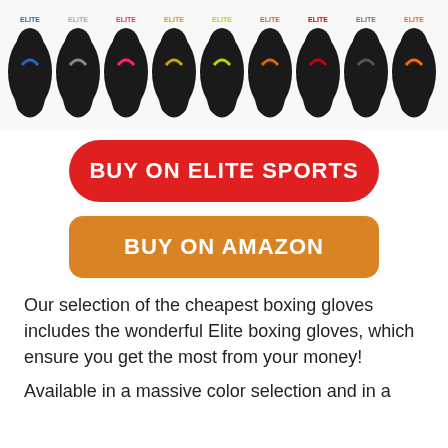[Figure (photo): Row of Elite Sports boxing gloves in various colors: blue, grey, pink, gold, yellow-green, orange, red, dark grey, orange on a white background]
BUY ON ELITE SPORTS
BUY ON AMAZON
Our selection of the cheapest boxing gloves includes the wonderful Elite boxing gloves, which ensure you get the most from your money!
Available in a massive color selection and in a